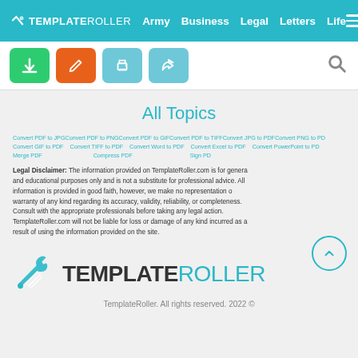TEMPLATEROLLER  Army  Business  Legal  Letters  Life
[Figure (screenshot): Toolbar with download (green), edit (orange), print (blue), share (blue) buttons and search icon]
All Topics
Convert PDF to JPG  Convert PDF to PNG  Convert PDF to GIF  Convert PDF to TIFF  Convert JPG to PDF  Convert PNG to PDF  Convert GIF to PDF    Convert TIFF to PDF    Convert Word to PDF    Convert Excel to PDF    Convert PowerPoint to PDF  Merge PDF                                      Compress PDF                                                Sign PDF
Legal Disclaimer: The information provided on TemplateRoller.com is for general and educational purposes only and is not a substitute for professional advice. All information is provided in good faith, however, we make no representation or warranty of any kind regarding its accuracy, validity, reliability, or completeness. Consult with the appropriate professionals before taking any legal action. TemplateRoller.com will not be liable for loss or damage of any kind incurred as a result of using the information provided on the site.
[Figure (logo): TemplateRoller logo with wrench/pencil icon and brand name TEMPLATEROLLER in dark and teal]
TemplateRoller. All rights reserved. 2022 ©